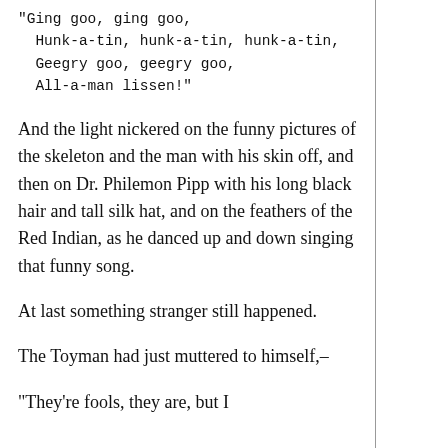“Ging goo, ging goo,
  Hunk-a-tin, hunk-a-tin, hunk-a-tin,
  Geegry goo, geegry goo,
  All-a-man lissen!”
And the light nickered on the funny pictures of the skeleton and the man with his skin off, and then on Dr. Philemon Pipp with his long black hair and tall silk hat, and on the feathers of the Red Indian, as he danced up and down singing that funny song.
At last something stranger still happened.
The Toyman had just muttered to himself,–
“They’re fools, they are, but I